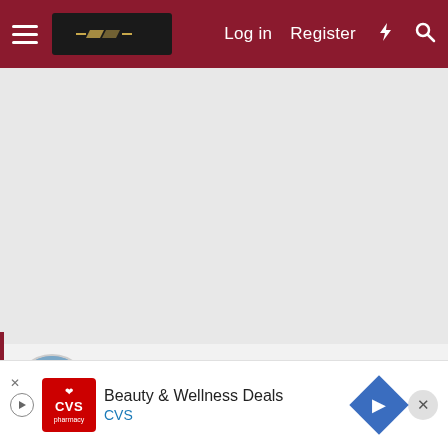Log in  Register
[Figure (screenshot): Gray advertisement/content area placeholder]
MennoSota
Well-known member
[Figure (other): Advertisement banner: Beauty & Wellness Deals - CVS]